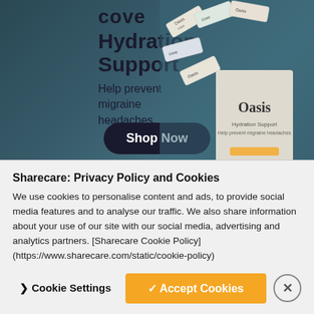[Figure (photo): Advertisement for Cove Oasis Hydration Support product. Dark teal/blue-green background with scattered Oasis branded packets and a large Oasis box. Text reads 'cove', 'Hydration Support', 'Help prevent migraine headaches.' with a 'Shop Now' button.]
Sharecare: Privacy Policy and Cookies
We use cookies to personalise content and ads, to provide social media features and to analyse our traffic. We also share information about your use of our site with our social media, advertising and analytics partners. [Sharecare Cookie Policy] (https://www.sharecare.com/static/cookie-policy)